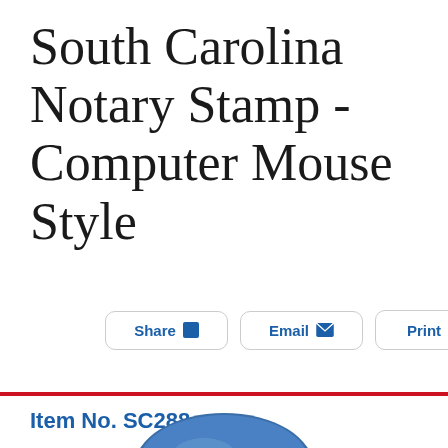South Carolina Notary Stamp - Computer Mouse Style
Share  Email  Print
Item No. SC288
[Figure (photo): Partial view of a blue computer mouse style notary stamp product, visible at bottom of page]